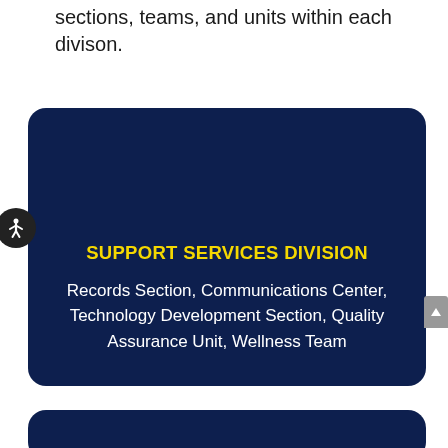sections, teams, and units within each divison.
[Figure (infographic): Dark navy blue card for Support Services Division showing the title in bold yellow uppercase text and listing: Records Section, Communications Center, Technology Development Section, Quality Assurance Unit, Wellness Team in white text.]
SUPPORT SERVICES DIVISION
Records Section, Communications Center, Technology Development Section, Quality Assurance Unit, Wellness Team
[Figure (infographic): Bottom of a second dark navy blue card, partially visible.]